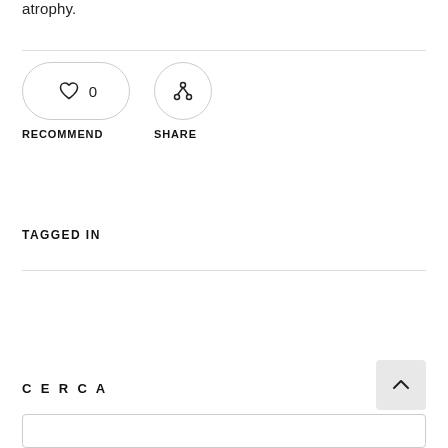atrophy.
[Figure (other): Recommend button (heart icon with 0 count) and Share button (fork/share icon), pill-shaped and circle-shaped respectively]
RECOMMEND
SHARE
TAGGED IN
C E R C A
[Figure (other): Scroll to top button with upward chevron arrow]
[Figure (other): Search bar input field (partially visible at bottom)]